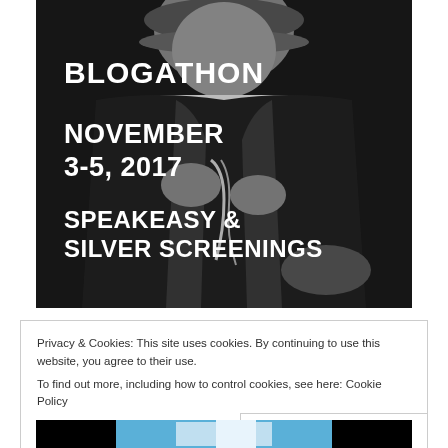[Figure (photo): Black and white photograph of a person (appears to be in costume, possibly Charlie Chaplin style) with text overlay. The image is dark/greyscale showing hands and clothing details.]
BLOGATHON
NOVEMBER 3-5, 2017
SPEAKEASY & SILVER SCREENINGS
Privacy & Cookies: This site uses cookies. By continuing to use this website, you agree to their use.
To find out more, including how to control cookies, see here: Cookie Policy
Close and accept
[Figure (photo): Partial view of a second image at the bottom of the page, showing what appears to be a colorized or tinted photo with blue tones.]